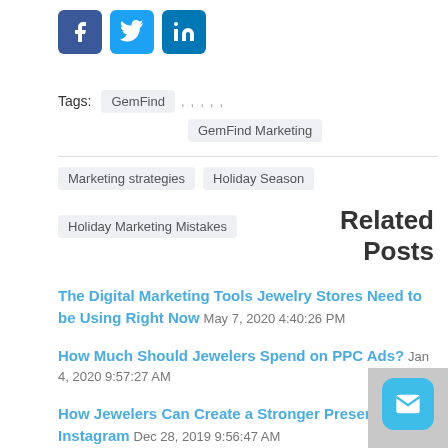[Figure (other): Social media share icons: Facebook (dark blue), Twitter (light blue), LinkedIn (blue)]
Tags: GemFind , , , , , GemFind Marketing , Marketing strategies , Holiday Season , Holiday Marketing Mistakes
Related Posts
The Digital Marketing Tools Jewelry Stores Need to be Using Right Now May 7, 2020 4:40:26 PM
How Much Should Jewelers Spend on PPC Ads? Jan 4, 2020 9:57:27 AM
How Jewelers Can Create a Stronger Presence on Instagram Dec 28, 2019 9:56:47 AM